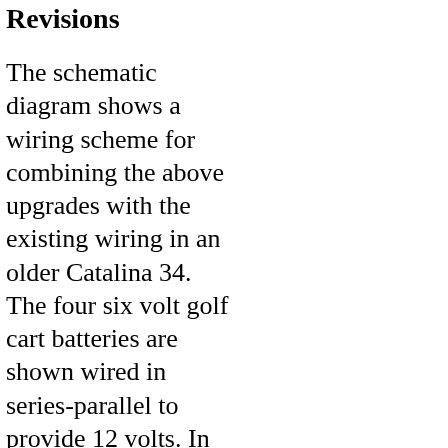Revisions
The schematic diagram shows a wiring scheme for combining the above upgrades with the existing wiring in an older Catalina 34. The four six volt golf cart batteries are shown wired in series-parallel to provide 12 volts. In later boats, the two original equipment D4 batteries may